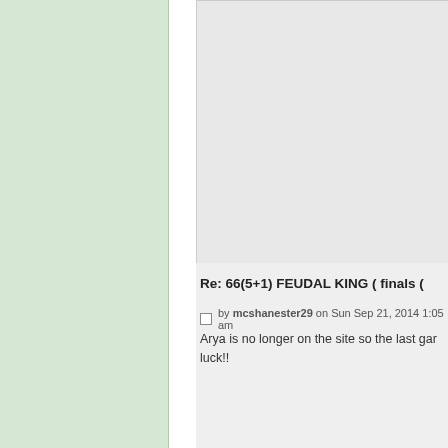[Figure (screenshot): Left green sidebar panel of a forum/website layout]
[Figure (screenshot): Gray content area at top right of a forum page]
Re: 66(5+1) FEUDAL KING ( finals (
by mcshanester29 on Sun Sep 21, 2014 1:05 am
Arya is no longer on the site so the last gar luck!!